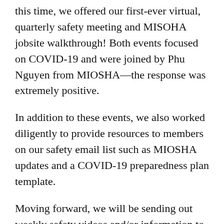this time, we offered our first-ever virtual, quarterly safety meeting and MISOHA jobsite walkthrough! Both events focused on COVID-19 and were joined by Phu Nguyen from MIOSHA—the response was extremely positive.
In addition to these events, we also worked diligently to provide resources to members on our safety email list such as MIOSHA updates and a COVID-19 preparedness plan template.
Moving forward, we will be sending out weekly safety videos and/or information to anyone interested.